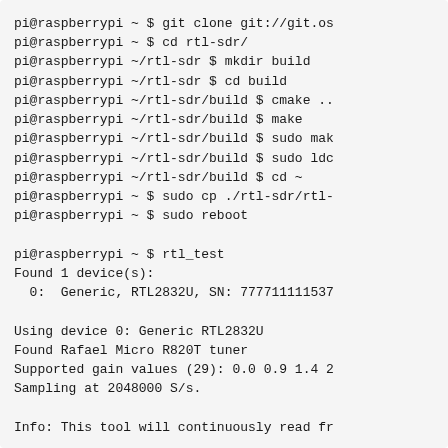pi@raspberrypi ~ $ git clone git://git.os
pi@raspberrypi ~ $ cd rtl-sdr/
pi@raspberrypi ~/rtl-sdr $ mkdir build
pi@raspberrypi ~/rtl-sdr $ cd build
pi@raspberrypi ~/rtl-sdr/build $ cmake ..
pi@raspberrypi ~/rtl-sdr/build $ make
pi@raspberrypi ~/rtl-sdr/build $ sudo mak
pi@raspberrypi ~/rtl-sdr/build $ sudo ldc
pi@raspberrypi ~/rtl-sdr/build $ cd ~
pi@raspberrypi ~ $ sudo cp ./rtl-sdr/rtl-
pi@raspberrypi ~ $ sudo reboot

pi@raspberrypi ~ $ rtl_test
Found 1 device(s):
  0:  Generic, RTL2832U, SN: 777711111537

Using device 0: Generic RTL2832U
Found Rafael Micro R820T tuner
Supported gain values (29): 0.0 0.9 1.4 2
Sampling at 2048000 S/s.

Info: This tool will continuously read fr
...